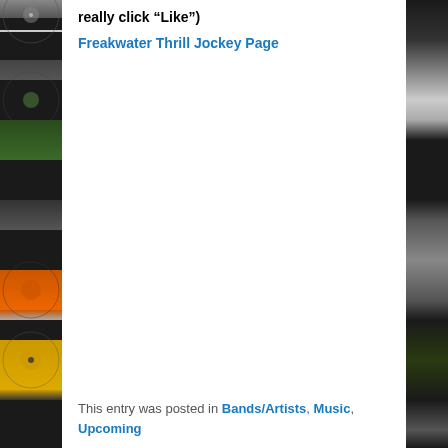[Figure (photo): Left sidebar showing stacked vinyl records in various colors — black, green, orange, yellow — photographed from the side]
really click “Like”)
Freakwater Thrill Jockey Page
This entry was posted in Bands/Artists, Music, Upcoming
[Figure (photo): Right sidebar showing partial view of vinyl records and music-related items in dark tones]